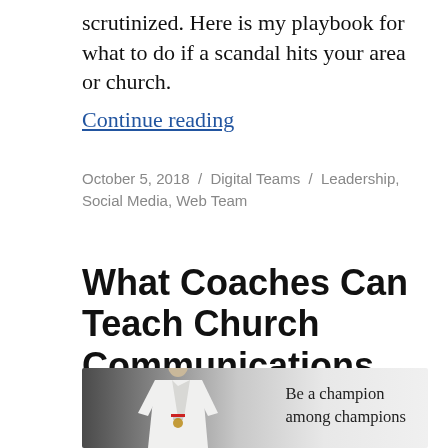scrutinized. Here is my playbook for what to do if a scandal hits your area or church.
Continue reading
October 5, 2018 / Digital Teams / Leadership, Social Media, Web Team
What Coaches Can Teach Church Communications
[Figure (photo): Older man in white karate uniform with medal, with text overlay reading 'Be a champion among champions' on a gradient background]